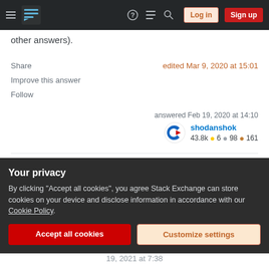Stack Exchange navigation bar with hamburger menu, logo, help, chat, search, Log in, Sign up
other answers).
Share
edited Mar 9, 2020 at 15:01
Improve this answer
Follow
answered Feb 19, 2020 at 14:10
shodanshok
43.8k ● 6 ● 98 ● 161
Correct syntax in libvirt is <driver name='qemu' type='qcow2' discard='unmap'
Your privacy
By clicking "Accept all cookies", you agree Stack Exchange can store cookies on your device and disclose information in accordance with our Cookie Policy.
Accept all cookies
Customize settings
19, 2021 at 7:38